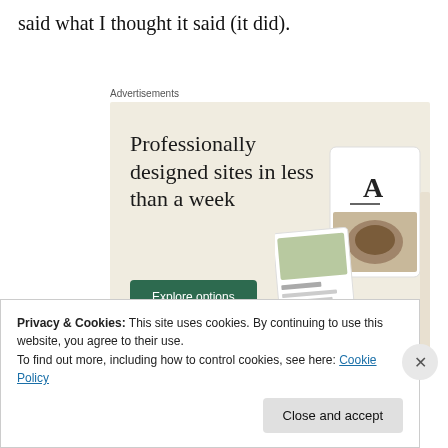said what I thought it said (it did).
[Figure (illustration): Advertisement banner for a website builder service. Beige/cream background with large serif text reading 'Professionally designed sites in less than a week', a green 'Explore options' button, and device mockup images on the right side.]
Privacy & Cookies: This site uses cookies. By continuing to use this website, you agree to their use.
To find out more, including how to control cookies, see here: Cookie Policy